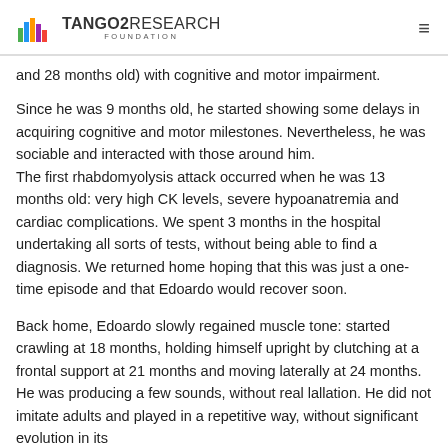TANGO2RESEARCH FOUNDATION
and 28 months old) with cognitive and motor impairment.
Since he was 9 months old, he started showing some delays in acquiring cognitive and motor milestones. Nevertheless, he was sociable and interacted with those around him.
The first rhabdomyolysis attack occurred when he was 13 months old: very high CK levels, severe hypoanatremia and cardiac complications. We spent 3 months in the hospital undertaking all sorts of tests, without being able to find a diagnosis. We returned home hoping that this was just a one-time episode and that Edoardo would recover soon.
Back home, Edoardo slowly regained muscle tone: started crawling at 18 months, holding himself upright by clutching at a frontal support at 21 months and moving laterally at 24 months. He was producing a few sounds, without real lallation. He did not imitate adults and played in a repetitive way, without significant evolution in its